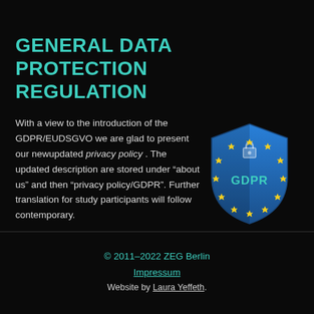GENERAL DATA PROTECTION REGULATION
With a view to the introduction of the GDPR/EUDSGVO we are glad to present our newupdated privacy policy . The updated description are stored under “about us” and then “privacy policy/GDPR”. Further translation for study participants will follow contemporary.
[Figure (illustration): Blue EU shield with GDPR text and yellow stars arranged in a circle, with a padlock icon on top]
© 2011–2022 ZEG Berlin
Impressum
Website by Laura Yeffeth.